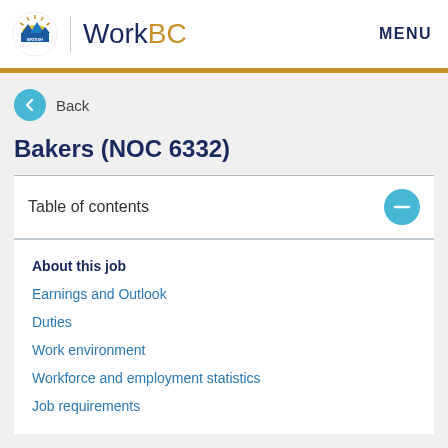WorkBC | MENU
Back
Bakers (NOC 6332)
Table of contents
About this job
Earnings and Outlook
Duties
Work environment
Workforce and employment statistics
Job requirements